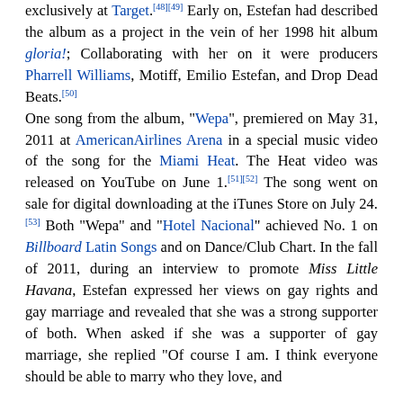exclusively at Target.[48][49] Early on, Estefan had described the album as a project in the vein of her 1998 hit album gloria!; Collaborating with her on it were producers Pharrell Williams, Motiff, Emilio Estefan, and Drop Dead Beats.[50] One song from the album, "Wepa", premiered on May 31, 2011 at AmericanAirlines Arena in a special music video of the song for the Miami Heat. The Heat video was released on YouTube on June 1.[51][52] The song went on sale for digital downloading at the iTunes Store on July 24.[53] Both "Wepa" and "Hotel Nacional" achieved No. 1 on Billboard Latin Songs and on Dance/Club Chart. In the fall of 2011, during an interview to promote Miss Little Havana, Estefan expressed her views on gay rights and gay marriage and revealed that she was a strong supporter of both. When asked if she was a supporter of gay marriage, she replied "Of course I am. I think everyone should be able to marry who they love, and